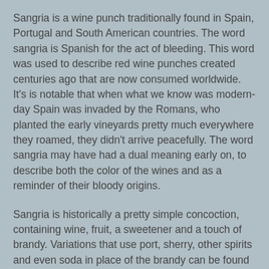Sangria is a wine punch traditionally found in Spain, Portugal and South American countries. The word sangria is Spanish for the act of bleeding. This word was used to describe red wine punches created centuries ago that are now consumed worldwide. It's is notable that when what we know was modern-day Spain was invaded by the Romans, who planted the early vineyards pretty much everywhere they roamed, they didn't arrive peacefully. The word sangria may have had a dual meaning early on, to describe both the color of the wines and as a reminder of their bloody origins.
Sangria is historically a pretty simple concoction, containing wine, fruit, a sweetener and a touch of brandy. Variations that use port, sherry, other spirits and even soda in place of the brandy can be found in countries where sangria is a more contemporary beverage. Common during the warmer months, sangria provides a refreshing way to consume alcohol and liven up those dog days.
While traditionally made from red wine, sangrias made from white, pink and blends of different wines are found on restaurant and bar menus when the mercury rises. The